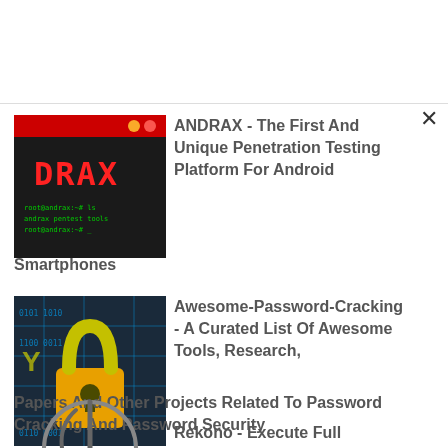[Figure (screenshot): ANDRAX terminal screenshot - black background with red DRAX text and green code]
ANDRAX - The First And Unique Penetration Testing Platform For Android Smartphones
[Figure (illustration): Password cracking image - circuit board background with yellow padlock and binary numbers]
Awesome-Password-Cracking - A Curated List Of Awesome Tools, Research, Papers And Other Projects Related To Password Cracking And Password Security
[Figure (logo): Rekono circular logo - partial view]
Rekono - Execute Full